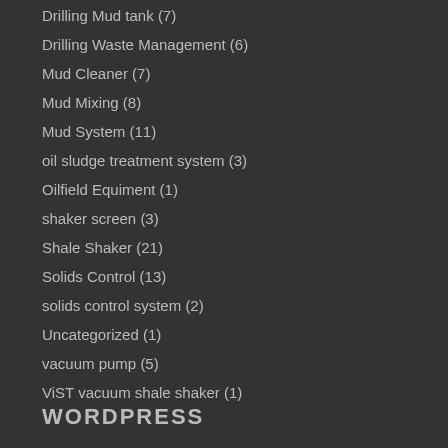Drilling Mud tank (7)
Drilling Waste Management (6)
Mud Cleaner (7)
Mud Mixing (8)
Mud System (11)
oil sludge treatment system (3)
Oilfield Equiment (1)
shaker screen (3)
Shale Shaker (21)
Solids Control (13)
solids control system (2)
Uncategorized (1)
vacuum pump (5)
ViST vacuum shale shaker (1)
WORDPRESS